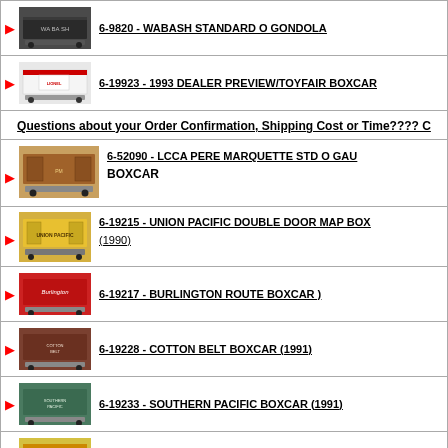6-9820 - WABASH STANDARD O GONDOLA
6-19923 - 1993 DEALER PREVIEW/TOYFAIR BOXCAR
Questions about your Order Confirmation, Shipping Cost or Time????
6-52090 - LCCA PERE MARQUETTE STD O GAUGE BOXCAR
6-19215 - UNION PACIFIC DOUBLE DOOR MAP BOX (1990)
6-19217 - BURLINGTON ROUTE BOXCAR )
6-19228 - COTTON BELT BOXCAR (1991)
6-19233 - SOUTHERN PACIFIC BOXCAR (1991)
6-19930 - LIONEL RAILROAD CLUB 4-BAY QUAD